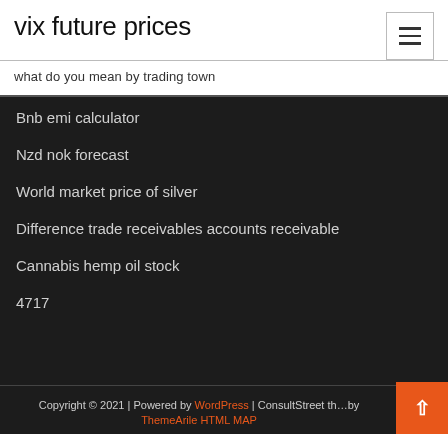vix future prices
what do you mean by trading town
Bnb emi calculator
Nzd nok forecast
World market price of silver
Difference trade receivables accounts receivable
Cannabis hemp oil stock
4717
Copyright © 2021 | Powered by WordPress | ConsultStreet theme by ThemeArile HTML MAP